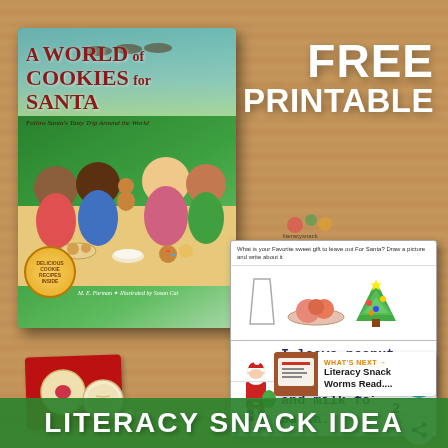[Figure (photo): Photo of a children's book 'A World of Cookies for Santa - Follow Santa's Tasty Trip Around the World' by M.E. Furman, illustrated by Sosan Cat, with colorful cover art showing children with cookies and gingerbread figures.]
FREE PRINTABLE
[Figure (photo): Photo of a student's completed printable worksheet showing a drawing of cookies on a plate and a Christmas tree, with handwritten text: 'I leave peanut butter cookies and milk for Santa.']
[Figure (photo): Photo of cookies on a red napkin/plate next to the book.]
WHAT'S NEXT → Literacy Snack Worms Read....
LITERACY SNACK IDEA